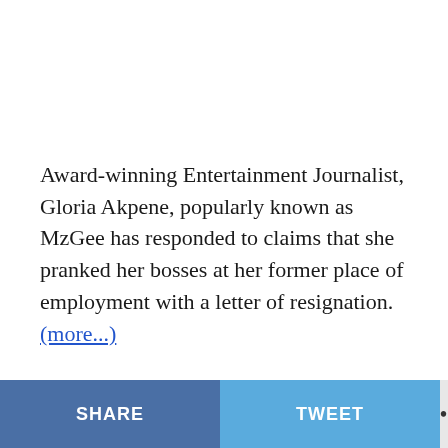Award-winning Entertainment Journalist, Gloria Akpene, popularly known as MzGee has responded to claims that she pranked her bosses at her former place of employment with a letter of resignation. (more...)
SHARE | TWEET | ...